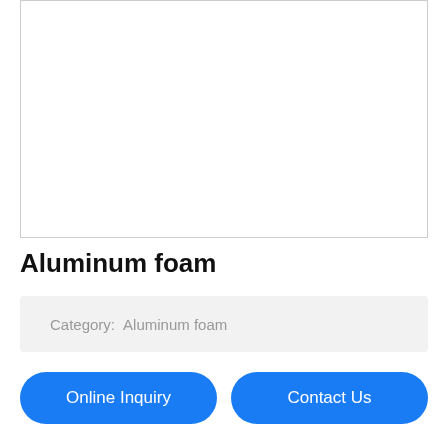[Figure (photo): Empty white image placeholder box with a border]
Aluminum foam
Category:   Aluminum foam
Online Inquiry
Contact Us